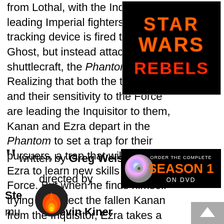from Lothal, with the Inquisitor leading Imperial fighters to it. A tracking device is fired toward the Ghost, but instead attaches to its shuttlecraft, the Phantom. Realizing that both the tracker and their sensitivity to the Force are leading the Inquisitor to them, Kanan and Ezra depart in the Phantom to set a trap for their pursuers, a trap that will require Ezra to learn new skills with the Force. But when he finds himself trying to protect the fallen Kanan from the Inquisitor, Ezra takes a step toward the dark side.
[Figure (photo): Star Wars Rebels logo on dark background with orange text]
written by Greg Weisman
directed by Steward Lee
music by Kevin Kiner
based on original themes and music by John Williams